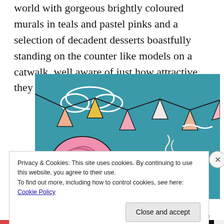world with gorgeous brightly coloured murals in teals and pastel pinks and a selection of decadent desserts boastfully standing on the counter like models on a catwalk, well aware of just how attractive they look.
[Figure (illustration): A colourful illustrated mural on a teal background showing bunting/pennant flags in pink, peach, yellow, and white strung across the top, with white cloud outlines, a large pink swirled pastry/croissant shape at the bottom left, a small candle with wavy smoke at the bottom right, and decorative swirling lines.]
Privacy & Cookies: This site uses cookies. By continuing to use this website, you agree to their use.
To find out more, including how to control cookies, see here: Cookie Policy
Close and accept